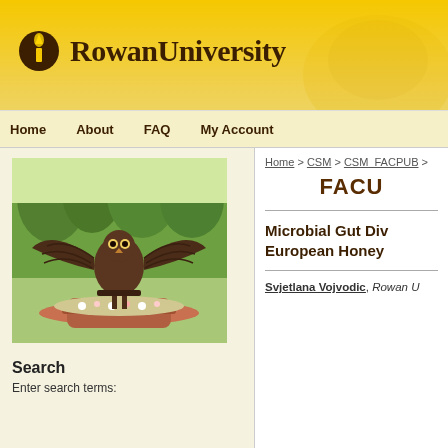[Figure (logo): Rowan University logo with torch icon and wordmark]
Home   About   FAQ   My Account
[Figure (photo): Bronze owl statue with wings spread wide on circular brick pedestal surrounded by flowers, outdoor campus setting]
Search
Enter search terms:
Home > CSM > CSM_FACPUB >
FACU
Microbial Gut Div European Honey
Svjetlana Vojvodic, Rowan U